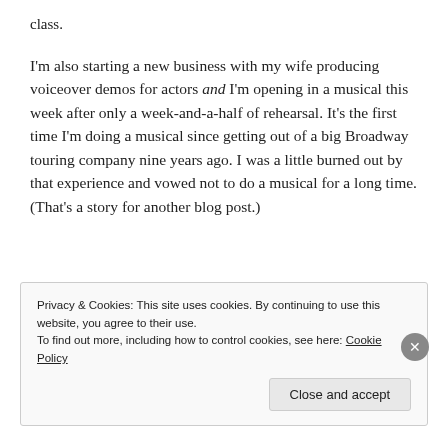class.
I'm also starting a new business with my wife producing voiceover demos for actors and I'm opening in a musical this week after only a week-and-a-half of rehearsal. It's the first time I'm doing a musical since getting out of a big Broadway touring company nine years ago. I was a little burned out by that experience and vowed not to do a musical for a long time. (That's a story for another blog post.)
Privacy & Cookies: This site uses cookies. By continuing to use this website, you agree to their use.
To find out more, including how to control cookies, see here: Cookie Policy